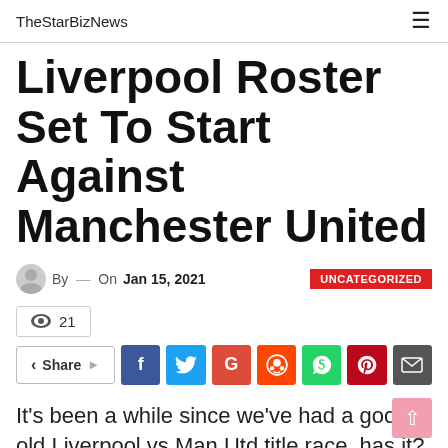TheStarBizNews
Liverpool Roster Set To Start Against Manchester United
By — On Jan 15, 2021  UNCATEGORIZED
👁 21
Share
It's been a while since we've had a good old Liverpool vs Man Utd title race, has it?